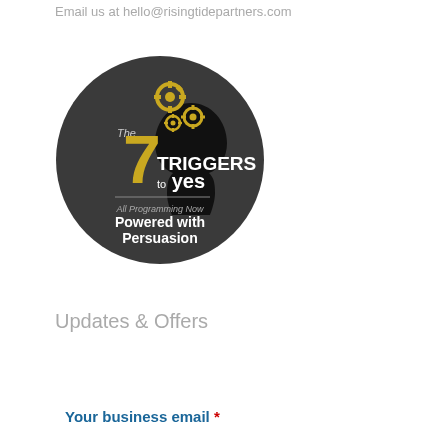Email us at hello@risingtidepartners.com
[Figure (logo): The 7 Triggers to Yes logo — circular dark grey badge with a silhouette of a head with golden gears, text reading 'The 7 Triggers to Yes' and 'All Programming Now Powered with Persuasion']
Updates & Offers
Your business email *